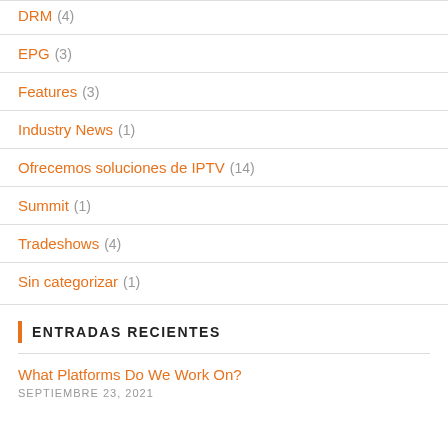DRM (4)
EPG (3)
Features (3)
Industry News (1)
Ofrecemos soluciones de IPTV (14)
Summit (1)
Tradeshows (4)
Sin categorizar (1)
ENTRADAS RECIENTES
What Platforms Do We Work On?
SEPTIEMBRE 23, 2021